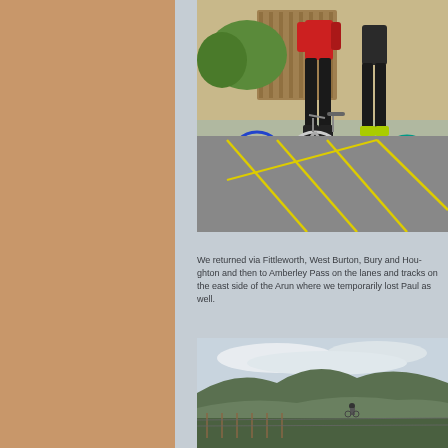[Figure (photo): Cyclists with bikes standing in a car park with yellow painted lines on tarmac. One person wears a red top and black tights, another has green shoes visible.]
We returned via Fittleworth, West Burton, Bury and Houghton and then to Amberley Pass on the lanes and tracks on the east side of the Arun where we temporarily lost Paul as well.
[Figure (photo): Rural landscape with rolling hills, overcast sky, and a cyclist visible on a path through the countryside.]